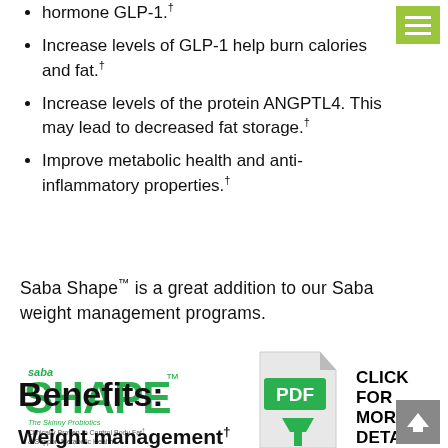hormone GLP-1.†
Increase levels of GLP-1 help burn calories and fat.†
Increase levels of the protein ANGPTL4. This may lead to decreased fat storage.†
Improve metabolic health and anti-inflammatory properties.†
Saba Shape™ is a great addition to our Saba weight management programs.
[Figure (logo): Saba Shape logo with tagline: The Skinny Probiotics, Clinically Proven to Control Body Fat & Support Metabolic Health†]
[Figure (illustration): PDF download icon with green arrow pointing down]
CLICK FOR MORE DETAILS
Benefits:
Weight management†